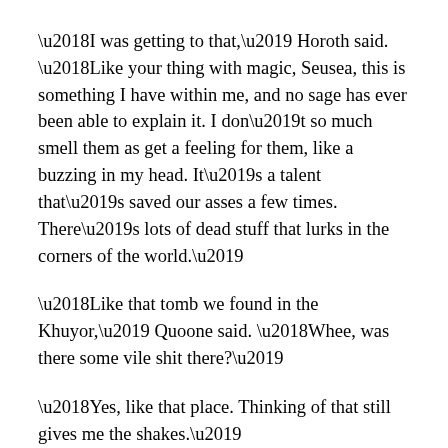‘I was getting to that,’ Horoth said. ‘Like your thing with magic, Seusea, this is something I have within me, and no sage has ever been able to explain it. I don’t so much smell them as get a feeling for them, like a buzzing in my head. It’s a talent that’s saved our asses a few times. There’s lots of dead stuff that lurks in the corners of the world.’
‘Like that tomb we found in the Khuyor,’ Quoone said. ‘Whee, was there some vile shit there?’
‘Yes, like that place. Thinking of that still gives me the shakes.’
‘That’s a tale to tell some time,’ Seusea said.
‘No thanks,’ Jorad said. ‘I don’t get frightened often, lass, but we got scared enough for twenty lifetimes